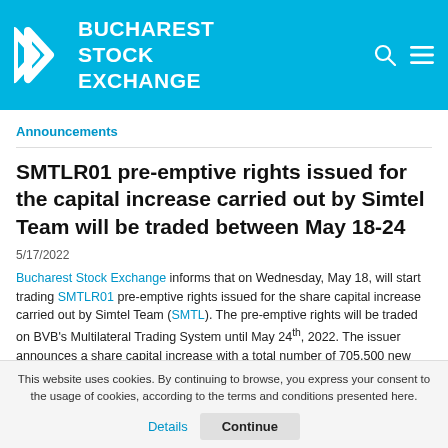BUCHAREST STOCK EXCHANGE
Announcements
SMTLR01 pre-emptive rights issued for the capital increase carried out by Simtel Team will be traded between May 18-24
5/17/2022
Bucharest Stock Exchange informs that on Wednesday, May 18, will start trading SMTLR01 pre-emptive rights issued for the share capital increase carried out by Simtel Team (SMTL). The pre-emptive rights will be traded on BVB's Multilateral Trading System until May 24th, 2022. The issuer announces a share capital increase with a total number of 705,500 new shares.
Each shareholder registered in the Simtel Team shareholder register received,
This website uses cookies. By continuing to browse, you express your consent to the usage of cookies, according to the terms and conditions presented here.